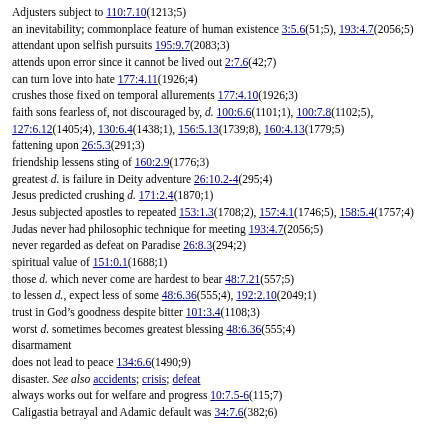Adjusters subject to 110:7.10(1213;5)
an inevitability; commonplace feature of human existence 3:5.6(51;5), 193:4.7(2056;5)
attendant upon selfish pursuits 195:9.7(2083;3)
attends upon error since it cannot be lived out 2:7.6(42;7)
can turn love into hate 177:4.11(1926;4)
crushes those fixed on temporal allurements 177:4.10(1926;3)
faith sons fearless of, not discouraged by, d. 100:6.6(1101;1), 100:7.8(1102;5), 127:6.12(1405;4), 130:6.4(1438;1), 156:5.13(1739;8), 160:4.13(1779;5)
fattening upon 26:5.3(291;3)
friendship lessens sting of 160:2.9(1776;3)
greatest d. is failure in Deity adventure 26:10.2-4(295;4)
Jesus predicted crushing d. 171:2.4(1870;1)
Jesus subjected apostles to repeated 153:1.3(1708;2), 157:4.1(1746;5), 158:5.4(1757;4)
Judas never had philosophic technique for meeting 193:4.7(2056;5)
never regarded as defeat on Paradise 26:8.3(294;2)
spiritual value of 151:0.1(1688;1)
those d. which never come are hardest to bear 48:7.21(557;5)
to lessen d., expect less of some 48:6.36(555;4), 192:2.10(2049;1)
trust in God's goodness despite bitter 101:3.4(1108;3)
worst d. sometimes becomes greatest blessing 48:6.36(555;4)
disarmament
does not lead to peace 134:6.6(1490;9)
disaster. See also accidents; crisis; defeat
always works out for welfare and progress 10:7.5-6(115;7)
Caligastia betrayal and Adamic default was 34:7.6(382;6)